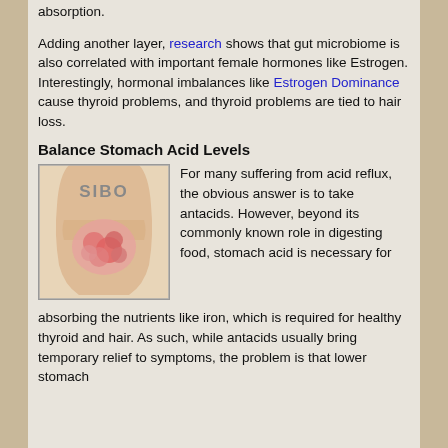absorption.
Adding another layer, research shows that gut microbiome is also correlated with important female hormones like Estrogen. Interestingly, hormonal imbalances like Estrogen Dominance cause thyroid problems, and thyroid problems are tied to hair loss.
Balance Stomach Acid Levels
[Figure (illustration): Illustration of a human torso showing SIBO (Small Intestinal Bacterial Overgrowth) with inflamed intestinal area highlighted in pink/red]
For many suffering from acid reflux, the obvious answer is to take antacids. However, beyond its commonly known role in digesting food, stomach acid is necessary for absorbing the nutrients like iron, which is required for healthy thyroid and hair. As such, while antacids usually bring temporary relief to symptoms, the problem is that lower stomach